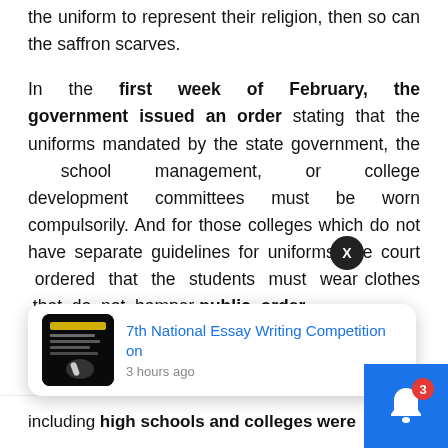the uniform to represent their religion, then so can the saffron scarves.
In the first week of February, the government issued an order stating that the uniforms mandated by the state government, the school management, or college development committees must be worn compulsorily. And for those colleges which do not have separate guidelines for uniforms, the court ordered that the students must wear clothes that do not hamper public order, equality and unity.
including high schools and colleges were
[Figure (screenshot): Notification popup for '7th National Essay Writing Competition on' with timestamp '3 hours ago', showing a dark image thumbnail on the left. An X close button overlays the popup. A blue bell icon button with a red badge showing '3' is in the bottom right corner.]